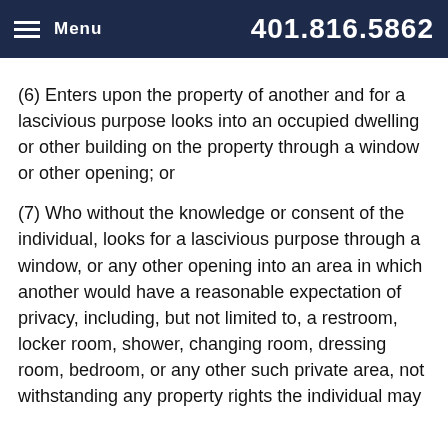Menu  401.816.5862
(6) Enters upon the property of another and for a lascivious purpose looks into an occupied dwelling or other building on the property through a window or other opening; or
(7) Who without the knowledge or consent of the individual, looks for a lascivious purpose through a window, or any other opening into an area in which another would have a reasonable expectation of privacy, including, but not limited to, a restroom, locker room, shower, changing room, dressing room, bedroom, or any other such private area, not withstanding any property rights the individual may